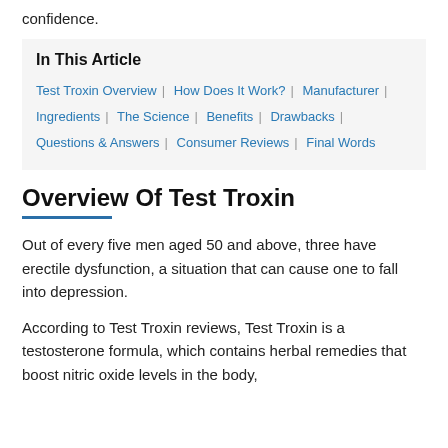confidence.
In This Article
Test Troxin Overview | How Does It Work? | Manufacturer | Ingredients | The Science | Benefits | Drawbacks | Questions & Answers | Consumer Reviews | Final Words
Overview Of Test Troxin
Out of every five men aged 50 and above, three have erectile dysfunction, a situation that can cause one to fall into depression.
According to Test Troxin reviews, Test Troxin is a testosterone formula, which contains herbal remedies that boost nitric oxide levels in the body,